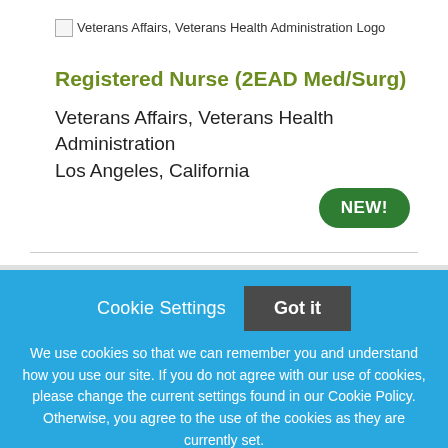[Figure (logo): Veterans Affairs, Veterans Health Administration Logo (broken image placeholder with alt text)]
Registered Nurse (2EAD Med/Surg)
Veterans Affairs, Veterans Health Administration
Los Angeles, California
NEW!
Cookie Settings
Got it
We use cookies so that we can remember you and understand how you use our site. If you do not agree with our use of cookies, please change the current settings found in our Cookie Policy. Otherwise, you agree to the use of the cookies as they are currently set.